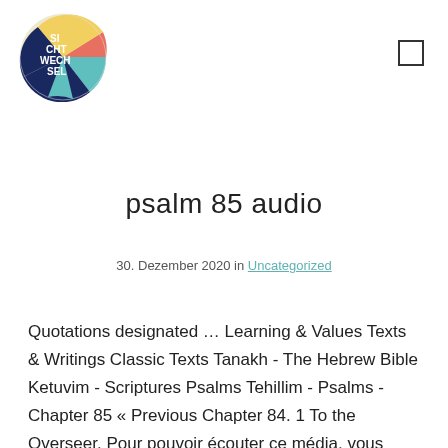[Figure (logo): Sichtwechsel logo: a colorful circle divided into segments (yellow, coral/red, dark blue, teal) with white text reading SI CHT WECH SEL]
psalm 85 audio
30. Dezember 2020 in Uncategorized
Quotations designated … Learning & Values Texts & Writings Classic Texts Tanakh - The Hebrew Bible Ketuvim - Scriptures Psalms Tehillim - Psalms - Chapter 85 « Previous Chapter 84. 1 To the Overseer. Pour pouvoir écouter ce média, vous devez soit mettre à jour votre